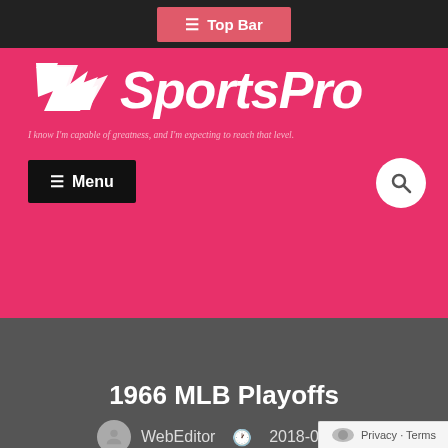☰ Top Bar
SportsPro – I know I'm capable of greatness, and I'm expecting to reach that level.
[Figure (logo): SportsPro site logo with white wing/chevron icon and italic bold SportsPro text on pink background]
☰ Menu
1966 MLB Playoffs
WebEditor  🕐 2018-06-22
🏠 Home › Baseball › 1966 MLB Playoffs
Privacy · Terms